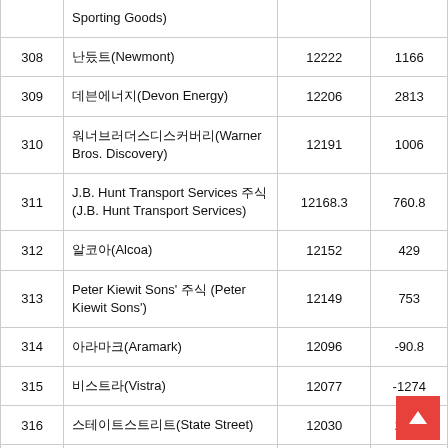| Rank | Company | Revenue | Profit |
| --- | --- | --- | --- |
|  | (Sporting Goods) |  |  |
| 308 | 뉴몬트(Newmont) | 12222 | 1166 |
| 309 | 데본에너지(Devon Energy) | 12206 | 2813 |
| 310 | 워너브러더스디스커버리(Warner Bros. Discovery) | 12191 | 1006 |
| 311 | J.B. Hunt Transport Services 주식 (J.B. Hunt Transport Services) | 12168.3 | 760.8 |
| 312 | 알코아(Alcoa) | 12152 | 429 |
| 313 | Peter Kiewit Sons' 주식 (Peter Kiewit Sons') | 12149 | 753 |
| 314 | 아라마크(Aramark) | 12096 | -90.8 |
| 315 | 비스트라(Vistra) | 12077 | -1274 |
| 316 | 스테이트스트리트(State Street) | 12030 | 2693 |
| 317 | Unum Group유눔(Unum Group) | 12013.8 | 824.2 |